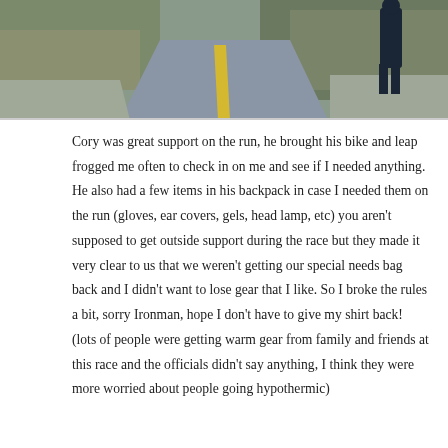[Figure (photo): Photo of a running path or road with yellow center line, gravel edges, dry grass/shrubs on the sides, and a person standing on the right side of the path. The sky and vegetation are visible in the background.]
Cory was great support on the run, he brought his bike and leap frogged me often to check in on me and see if I needed anything. He also had a few items in his backpack in case I needed them on the run (gloves, ear covers, gels, head lamp, etc) you aren't supposed to get outside support during the race but they made it very clear to us that we weren't getting our special needs bag back and I didn't want to lose gear that I like. So I broke the rules a bit, sorry Ironman, hope I don't have to give my shirt back! (lots of people were getting warm gear from family and friends at this race and the officials didn't say anything, I think they were more worried about people going hypothermic)